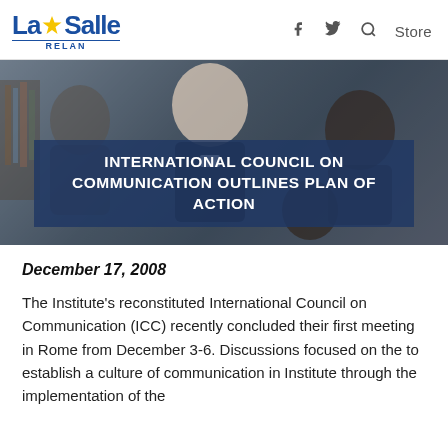La Salle RELAN   f  Twitter  Search  Store
[Figure (photo): Hero banner photo showing people in a library setting, with a Brother leaning over students. A dark blue semi-transparent overlay box contains the article title.]
INTERNATIONAL COUNCIL ON COMMUNICATION OUTLINES PLAN OF ACTION
December 17, 2008
The Institute's reconstituted International Council on Communication (ICC) recently concluded their first meeting in Rome from December 3-6. Discussions focused on the to establish a culture of communication in Institute through the implementation of the